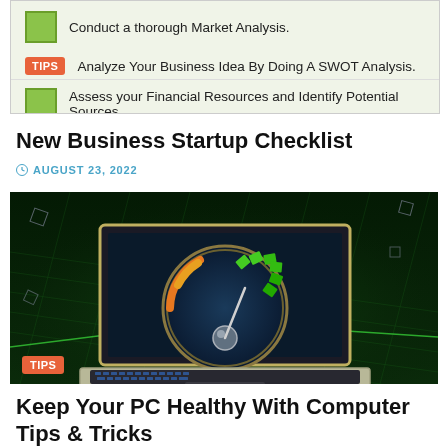[Figure (screenshot): Partial view of a checklist infographic with green checkbox, TIPS badge, and list items about business startup]
New Business Startup Checklist
AUGUST 23, 2022
[Figure (photo): Laptop with speedometer gauge on screen, glowing green digital grid background, TIPS badge overlay]
Keep Your PC Healthy With Computer Tips & Tricks
AUGUST 17, 2022
[Figure (screenshot): Partial bottom strip of another article image, dark background]